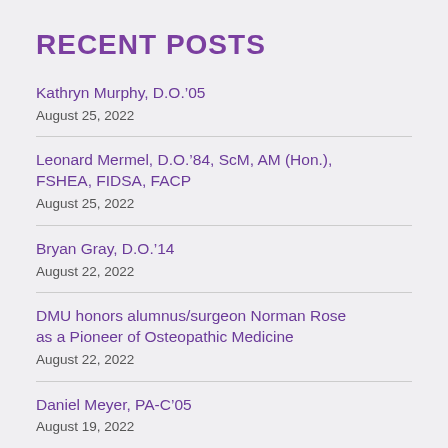RECENT POSTS
Kathryn Murphy, D.O.’05
August 25, 2022
Leonard Mermel, D.O.’84, ScM, AM (Hon.), FSHEA, FIDSA, FACP
August 25, 2022
Bryan Gray, D.O.’14
August 22, 2022
DMU honors alumnus/surgeon Norman Rose as a Pioneer of Osteopathic Medicine
August 22, 2022
Daniel Meyer, PA-C’05
August 19, 2022